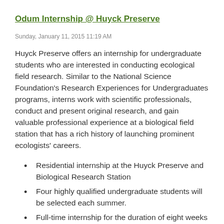Odum Internship @ Huyck Preserve
Sunday, January 11, 2015 11:19 AM
Huyck Preserve offers an internship for undergraduate students who are interested in conducting ecological field research. Similar to the National Science Foundation's Research Experiences for Undergraduates programs, interns work with scientific professionals, conduct and present original research, and gain valuable professional experience at a biological field station that has a rich history of launching prominent ecologists' careers.
Residential internship at the Huyck Preserve and Biological Research Station
Four highly qualified undergraduate students will be selected each summer.
Full-time internship for the duration of eight weeks
The internship is unpaid, however housing and